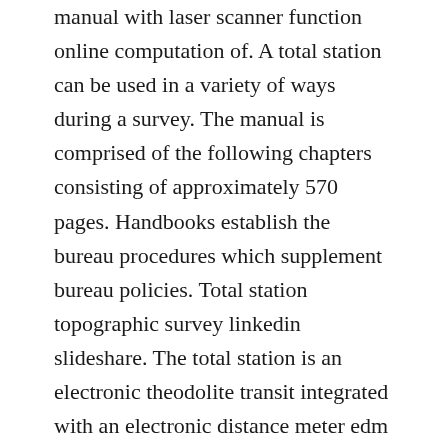manual with laser scanner function online computation of. A total station can be used in a variety of ways during a survey. The manual is comprised of the following chapters consisting of approximately 570 pages. Handbooks establish the bureau procedures which supplement bureau policies. Total station topographic survey linkedin slideshare. The total station is an electronic theodolite transit integrated with an electronic distance meter edm to read slope distances from the instrument to a particular point. The total